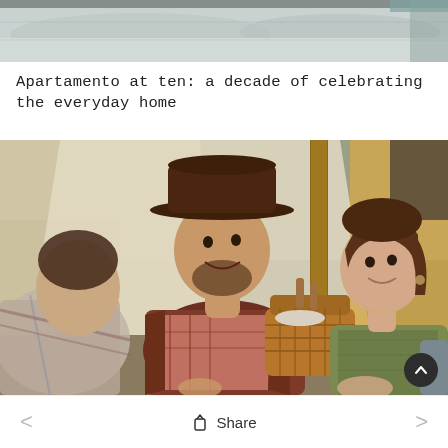[Figure (photo): Top portion of a photo showing what appears to be bedding or a sofa/couch, cropped at the top of the page]
Apartamento at ten: a decade of celebrating the everyday home
[Figure (photo): A man wearing a brown wide-brimmed hat and checked shirt with brown jacket sits smiling, next to a woman with brown hair wearing a green tweed jacket. They are sitting near a canvas tent with a wicker picnic basket between them. Part of a child in a plaid shirt is visible in the lower left foreground.]
Share